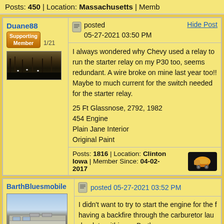Posts: 450 | Location: Massachusetts | Memb
Duane88
Supporting Member 1/21
posted 05-27-2021 03:50 PM
Hide Post
I always wondered why Chevy used a relay to run the starter relay on my P30 too, seems redundant. A wire broke on mine last year too!! Maybe to much current for the switch needed for the starter relay.

25 Ft Glassnose, 2792, 1982
454 Engine
Plain Jane Interior
Original Paint
Posts: 1816 | Location: Clinton Iowa | Member Since: 04-02-2017
BarthBluesmobile
posted 05-27-2021 03:52 PM
I didn't want to try to start the engine for the f having a backfire through the carburetor lau droplets within my Barth.